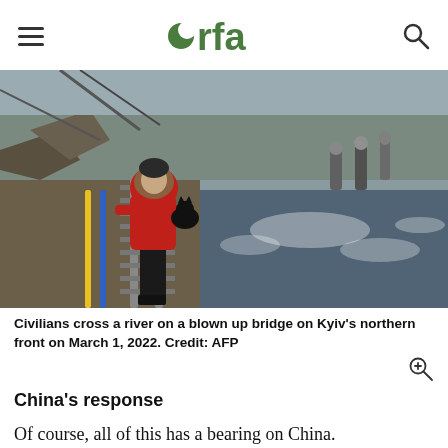rfa (Radio Free Asia logo with hamburger menu and search icon)
[Figure (photo): Civilians cross a river on a blown up bridge on Kyiv's northern front. A person in a red jacket carrying a black cat walks along damaged railway tracks over rushing water. Other people visible in background.]
Civilians cross a river on a blown up bridge on Kyiv's northern front on March 1, 2022. Credit: AFP
China's response
Of course, all of this has a bearing on China.
Beijing continues to back Moscow, despite